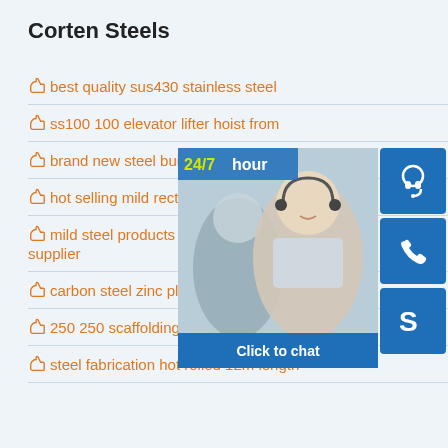Corten Steels
best quality sus430 stainless steel
ss100 100 elevator lifter hoist from
brand new steel building made in
hot selling mild rectangular steel p
mild steel products ss400 carbon supplier
carbon steel zinc plated u bolt and nut
250 250 scaffolding h beam formwork steel
steel fabrication hot rolled 12m length
[Figure (infographic): Customer service overlay showing a photo of a smiling call center agent, a '24/7 hour' label in yellow, a 'Click to chat' blue bar, and three blue icon boxes for headset, phone, and Skype.]